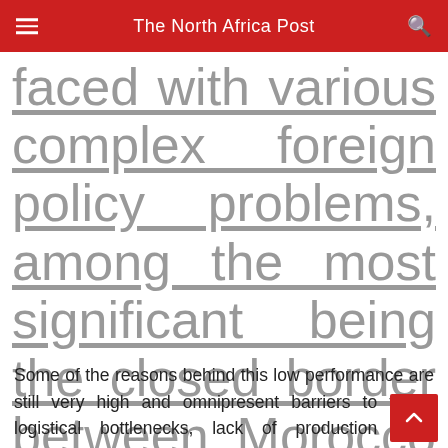The North Africa Post
faced with various complex foreign policy problems, among the most significant being the closed border between Morocco and Algeria.
Some of the reasons behind this low performance are still very high and omnipresent barriers to trade, logistical bottlenecks, lack of production base diversification and political considerations. Particularly the latter is likely to